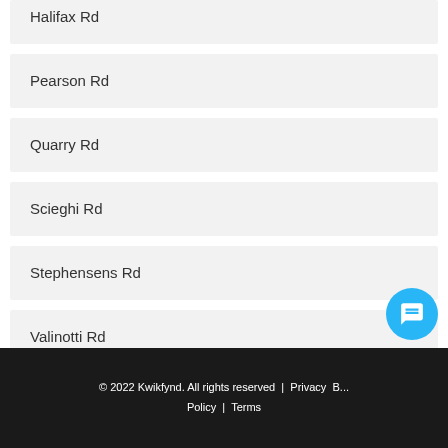Halifax Rd
Pearson Rd
Quarry Rd
Scieghi Rd
Stephensens Rd
Valinotti Rd
© 2022 Kwikfynd. All rights reserved | Privacy B... Policy | Terms